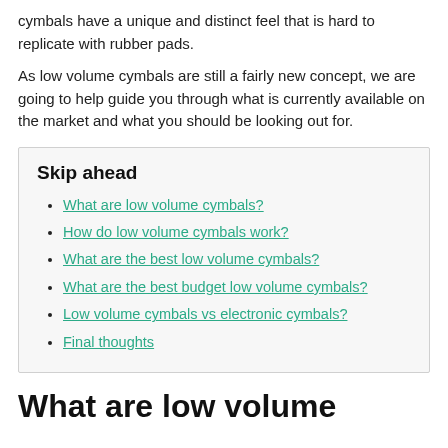cymbals have a unique and distinct feel that is hard to replicate with rubber pads.
As low volume cymbals are still a fairly new concept, we are going to help guide you through what is currently available on the market and what you should be looking out for.
Skip ahead
What are low volume cymbals?
How do low volume cymbals work?
What are the best low volume cymbals?
What are the best budget low volume cymbals?
Low volume cymbals vs electronic cymbals?
Final thoughts
What are low volume